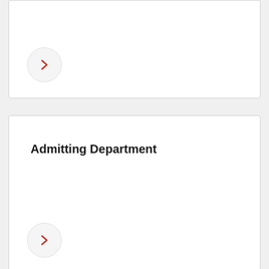[Figure (other): A white card panel with a circular chevron/arrow button (right-pointing, red) on a light gray background]
Admitting Department
[Figure (other): A white card panel with section header 'Admitting Department' and a circular chevron/arrow button (right-pointing, red) on a light gray background]